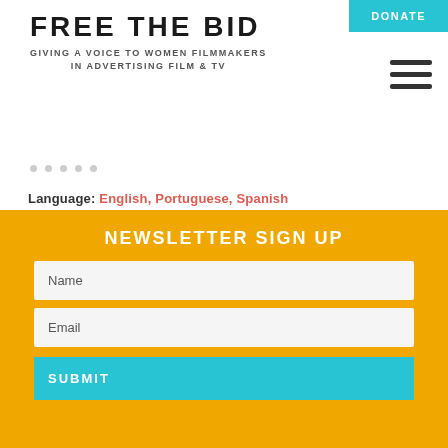FREE THE BID
GIVING A VOICE TO WOMEN FILMMAKERS IN ADVERTISING FILM & TV
Language: English, Portuguese, Spanish
Location: USA, Los Angeles, New York
Production Companies: Girl Culture
NEWSLETTER SIGN UP
Name
Email
SUBMIT